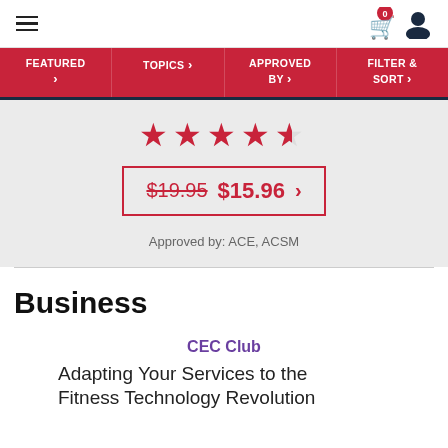Navigation header with hamburger menu, cart (0 items), and user icon
FEATURED > | TOPICS > | APPROVED BY > | FILTER & SORT >
[Figure (other): 4.5 star rating displayed in red stars]
$19.95 $15.96 >
Approved by: ACE, ACSM
Business
CEC Club
Adapting Your Services to the Fitness Technology Revolution